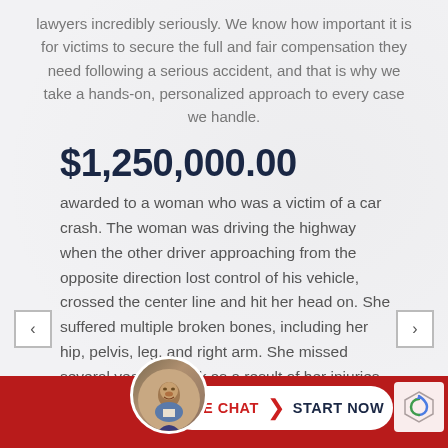lawyers incredibly seriously. We know how important it is for victims to secure the full and fair compensation they need following a serious accident, and that is why we take a hands-on, personalized approach to every case we handle.
$1,250,000.00
awarded to a woman who was a victim of a car crash. The woman was driving the highway when the other driver approaching from the opposite direction lost control of his vehicle, crossed the center line and hit her head on. She suffered multiple broken bones, including her hip, pelvis, leg, and right arm. She missed several years of work as a result of her injuries. Read More
[Figure (photo): Attorney headshot photo in circular frame at bottom of page]
LIVE CHAT  START NOW